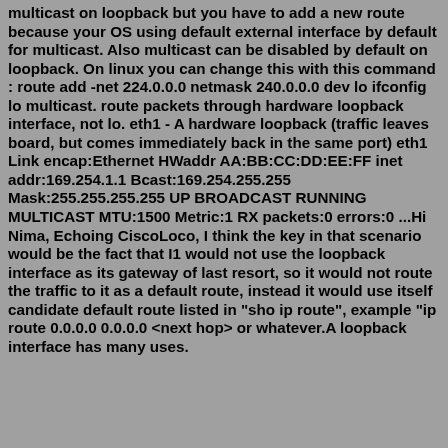multicast on loopback but you have to add a new route because your OS using default external interface by default for multicast. Also multicast can be disabled by default on loopback. On linux you can change this with this command : route add -net 224.0.0.0 netmask 240.0.0.0 dev lo ifconfig lo multicast. route packets through hardware loopback interface, not lo. eth1 - A hardware loopback (traffic leaves board, but comes immediately back in the same port) eth1 Link encap:Ethernet HWaddr AA:BB:CC:DD:EE:FF inet addr:169.254.1.1 Bcast:169.254.255.255 Mask:255.255.255.255 UP BROADCAST RUNNING MULTICAST MTU:1500 Metric:1 RX packets:0 errors:0 ...Hi Nima, Echoing CiscoLoco, I think the key in that scenario would be the fact that I1 would not use the loopback interface as its gateway of last resort, so it would not route the traffic to it as a default route, instead it would use itself candidate default route listed in "sho ip route", example "ip route 0.0.0.0 0.0.0.0 <next hop> or whatever.A loopback interface has many uses.